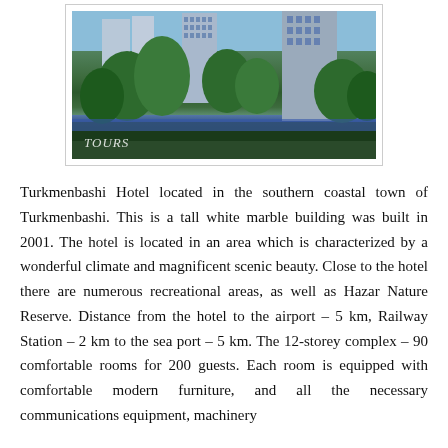[Figure (photo): Photograph of Turkmenbashi Hotel exterior showing a tall modern building with trees in the foreground and blue sky. 'TOURS' text visible in lower left of image.]
Turkmenbashi Hotel located in the southern coastal town of Turkmenbashi. This is a tall white marble building was built in 2001. The hotel is located in an area which is characterized by a wonderful climate and magnificent scenic beauty. Close to the hotel there are numerous recreational areas, as well as Hazar Nature Reserve. Distance from the hotel to the airport – 5 km, Railway Station – 2 km to the sea port – 5 km. The 12-storey complex – 90 comfortable rooms for 200 guests. Each room is equipped with comfortable modern furniture, and all the necessary communications equipment, machinery